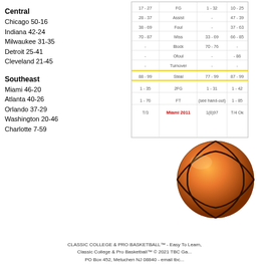Central
Chicago 50-16
Indiana 42-24
Milwaukee 31-35
Detroit 25-41
Cleveland 21-45
Southeast
Miami 46-20
Atlanta 40-26
Orlando 37-29
Washington 20-46
Charlotte 7-59
[Figure (table-as-image): Basketball score tracking table with columns for quarter ranges, FG/Assist/Foul/Miss/Block/Ofoul/Turnover/Steal statistics, and corresponding values. Footer shows Miami 2011 and related scores.]
[Figure (photo): 3D rendered orange basketball with black seam lines]
CLASSIC COLLEGE & PRO BASKETBALL™ - Easy To Learn,
Classic College & Pro Basketball™ © 2021 TBC Ga...
PO Box 452, Metuchen NJ 08840 - email tbc...